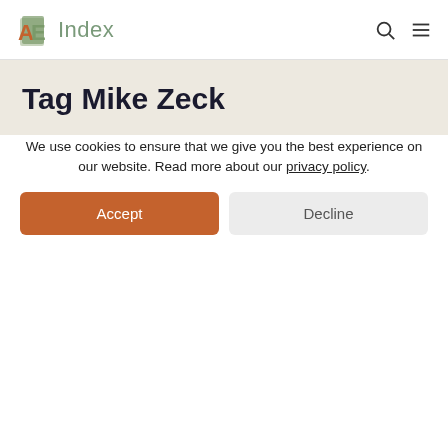AE Index
Tag Mike Zeck
[Figure (photo): A grid of comic book signature panels on yellow and orange backgrounds showing artist names: FINCH, White, NB, JIM LEE, SALVESTRI, MIGNOLA, PLATT, MCFARLANE, and the AE Index logo overlaid in the center]
We use cookies to ensure that we give you the best experience on our website. Read more about our privacy policy.
Accept
Decline